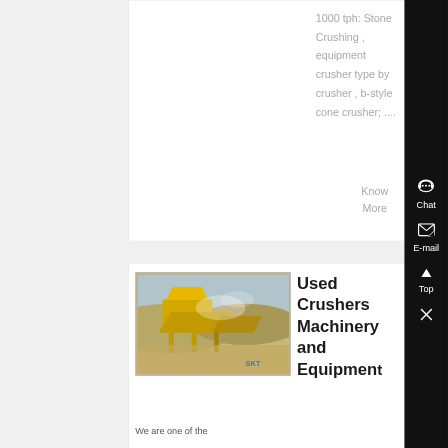1000 tph: Stone Crushing , equipment crusher type by crusher , b-style cone crusher; ....
Know More
[Figure (photo): Photo of a large yellow stone crushing machine/conveyor system at a quarry or mining site, with dust visible, branded with SKT logo]
Used Crushers Machinery and Equipment
We are one of the
[Figure (infographic): Right sidebar with dark background containing Chat, E-mail, Top, and close (X) navigation buttons]